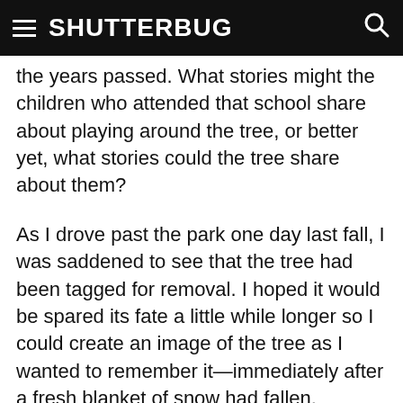≡ SHUTTERBUG 🔍
the years passed. What stories might the children who attended that school share about playing around the tree, or better yet, what stories could the tree share about them?
As I drove past the park one day last fall, I was saddened to see that the tree had been tagged for removal. I hoped it would be spared its fate a little while longer so I could create an image of the tree as I wanted to remember it—immediately after a fresh blanket of snow had fallen. Fortunately, the tree stood its ground throughout the winter and I was able to capture this photo. Workers finally removed the tree several weeks ago. A framed enlargement of this image now hangs above my fireplace as a